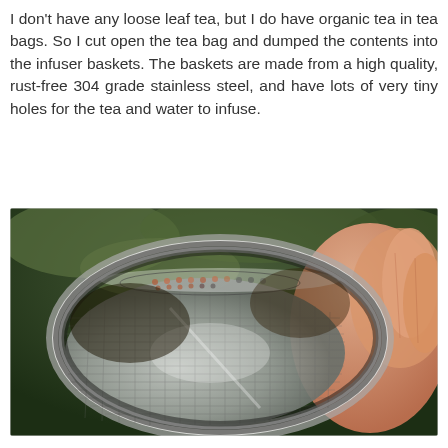I don't have any loose leaf tea, but I do have organic tea in tea bags. So I cut open the tea bag and dumped the contents into the infuser baskets. The baskets are made from a high quality, rust-free 304 grade stainless steel, and have lots of very tiny holes for the tea and water to infuse.
[Figure (photo): Close-up photograph of a stainless steel tea infuser basket being held by a hand. The basket is circular with a fine mesh bottom showing tiny holes. The background shows out-of-focus green foliage.]